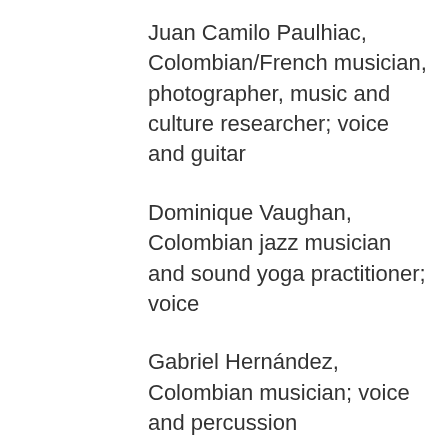Juan Camilo Paulhiac, Colombian/French musician, photographer, music and culture researcher; voice and guitar
Dominique Vaughan, Colombian jazz musician and sound yoga practitioner; voice
Gabriel Hernández, Colombian musician; voice and percussion
Coque Gamboa, Colombian photographer and musician; flute